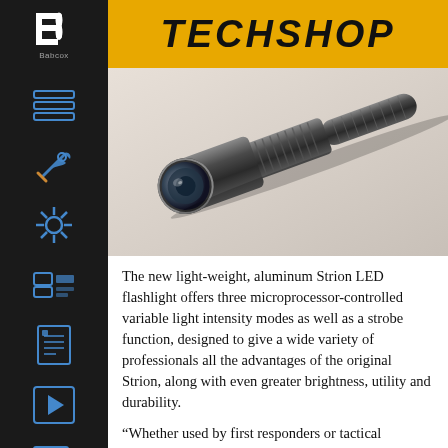TECHSHOP
[Figure (photo): A black aluminum flashlight (Strion LED) photographed diagonally on a light background, showing the lens end and body with knurled grip sections.]
The new light-weight, aluminum Strion LED flashlight offers three microprocessor-controlled variable light intensity modes as well as a strobe function, designed to give a wide variety of professionals all the advantages of the original Strion, along with even greater brightness, utility and durability.
“Whether used by first responders or tactical personnel for night-time operations, industrial professionals for inspections, auto repair mechanics for peering under the hood of a car or